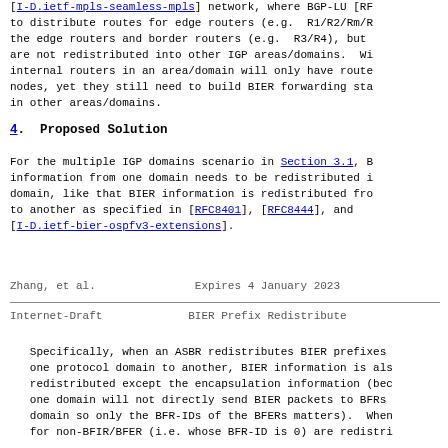[I-D.ietf-mpls-seamless-mpls] network, where BGP-LU [RF to distribute routes for edge routers (e.g.  R1/R2/Rm/R the edge routers and border routers (e.g.  R3/R4), but are not redistributed into other IGP areas/domains.  Wi internal routers in an area/domain will only have route nodes, yet they still need to build BIER forwarding sta in other areas/domains.
4.  Proposed Solution
For the multiple IGP domains scenario in Section 3.1, B information from one domain needs to be redistributed i domain, like that BIER information is redistributed fro to another as specified in [RFC8401], [RFC8444], and [I-D.ietf-bier-ospfv3-extensions].
Zhang, et al.                Expires 4 January 2023
Internet-Draft              BIER Prefix Redistribute
Specifically, when an ASBR redistributes BIER prefixes one protocol domain to another, BIER information is als redistributed except the encapsulation information (bec one domain will not directly send BIER packets to BFRs domain so only the BFR-IDs of the BFERs matters).  When for non-BFIR/BFER (i.e. whose BFR-ID is 0) are redistri